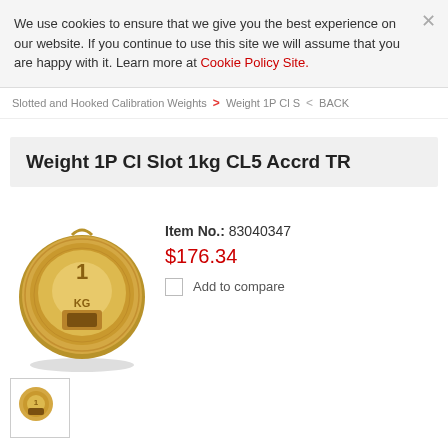We use cookies to ensure that we give you the best experience on our website. If you continue to use this site we will assume that you are happy with it. Learn more at Cookie Policy Site.
Slotted and Hooked Calibration Weights > Weight 1P Cl S < BACK
Weight 1P Cl Slot 1kg CL5 Accrd TR
[Figure (photo): Gold/brass colored slotted calibration weight disc, 1 kg, top view showing slot and engraved markings]
Item No.: 83040347
$176.34
Add to compare
[Figure (photo): Small thumbnail of the same slotted calibration weight]